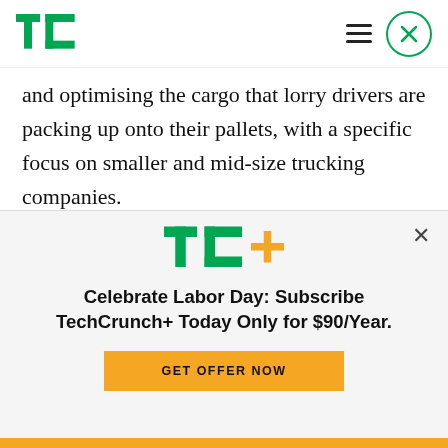TechCrunch logo, hamburger menu, close button
and optimising the cargo that lorry drivers are packing up onto their pallets, with a specific focus on smaller and mid-size trucking companies.
It's an area that is estimated to be valued at $120 billion in Europe alone. As with other
[Figure (logo): TC+ logo (TechCrunch Plus) with green TC letters and gold plus sign]
Celebrate Labor Day: Subscribe TechCrunch+ Today Only for $90/Year.
GET OFFER NOW